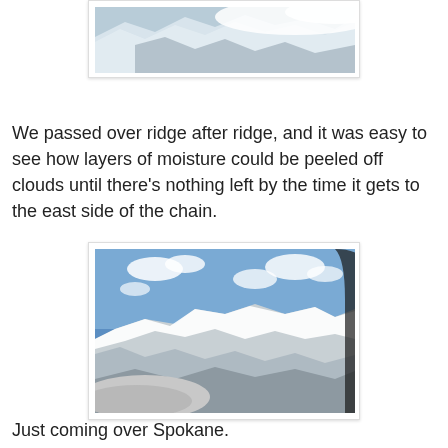[Figure (photo): Aerial view of snow-capped mountain ridges with clouds, viewed from airplane window]
We passed over ridge after ridge, and it was easy to see how layers of moisture could be peeled off clouds until there's nothing left by the time it gets to the east side of the chain.
[Figure (photo): Aerial view of snow-covered mountains with scattered clouds and blue sky, viewed from airplane window showing wing]
Just coming over Spokane.